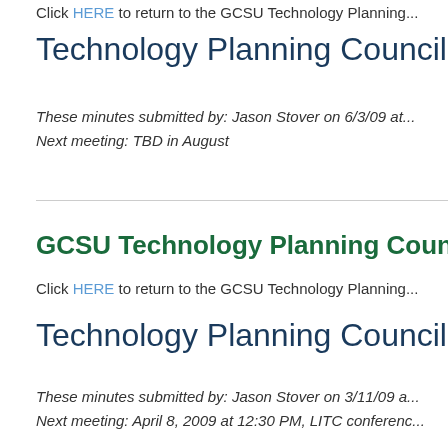Click HERE to return to the GCSU Technology Planning...
Technology Planning Council, April...
These minutes submitted by: Jason Stover on 6/3/09 at...
Next meeting: TBD in August
GCSU Technology Planning Counc...
Click HERE to return to the GCSU Technology Planning...
Technology Planning Council, Febr...
These minutes submitted by: Jason Stover on 3/11/09 a...
Next meeting: April 8, 2009 at 12:30 PM, LITC conferenc...